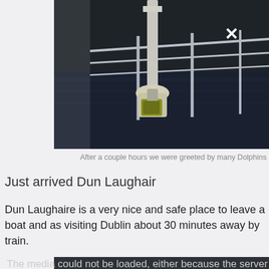[Figure (photo): Photograph taken from a sailboat deck showing metal railings, mast equipment, and dark water in the background. Dark toned image with a close-up view of the boat's bow hardware.]
After a couple hours we were greeted by many Dolphins
Just arrived Dun Laughair
Dun Laughaire is a very nice and safe place to leave a boat and as visiting Dublin about 30 minutes away by train.
[Figure (screenshot): Video player error message area showing dark background with text: The media could not be loaded, either because the server o...]